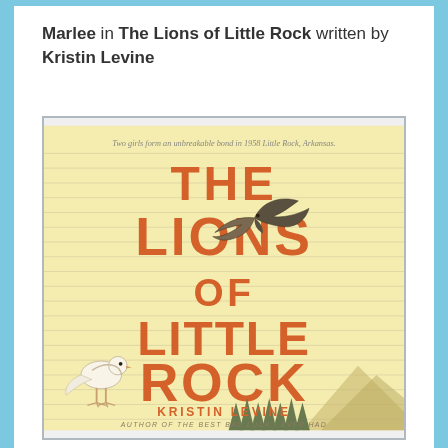Marlee in The Lions of Little Rock written by Kristin Levine
[Figure (illustration): Book cover of 'The Lions of Little Rock' by Kristin Levine. Yellow/cream background with horizontal ruled lines. Large orange bold text reads 'THE LIONS OF LITTLE ROCK'. A bird (swallow) in flight is illustrated in the center. A white dove/bird stands at the lower left. Mountains and trees visible at the bottom. Subtitle text at top: 'Two girls form an unbreakable bond in 1958 Little Rock, Arkansas.' Author name 'KRISTIN LEVINE' at bottom with 'AUTHOR OF THE BEST BAD LUCK I EVER HAD'.]